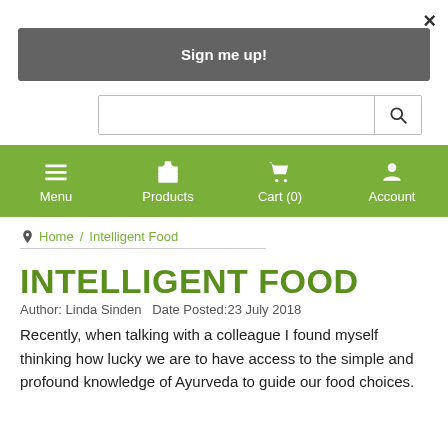×
Sign me up!
[Figure (screenshot): Search input field with magnifying glass icon button]
[Figure (infographic): Green navigation bar with Menu, Products, Cart (0), Account icons and labels]
Home / Intelligent Food
INTELLIGENT FOOD
Author: Linda Sinden   Date Posted:23 July 2018
Recently, when talking with a colleague I found myself thinking how lucky we are to have access to the simple and profound knowledge of Ayurveda to guide our food choices.